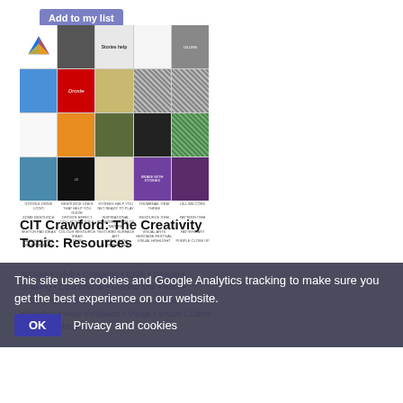Add to my list
[Figure (screenshot): Grid of thumbnail images showing various creative and educational resources including Google Drive logo, story images, design patterns, craft items, and more]
CIT Crawford: The Creativity Tonic: Resources
3D tour • Adult • Colouring • Craft • Design • Drawing • Educational • Guided tour • Kids • Photography • Reflective • Sound • Teens • View collection • View exhibition • Visual • Visual Culture • You can share and share
This site uses cookies and Google Analytics tracking to make sure you get the best experience on our website.
OK   Privacy and cookies